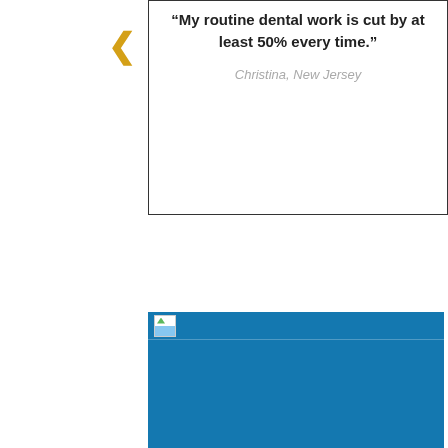"My routine dental work is cut by at least 50% every time."
Christina, New Jersey
[Figure (other): Blue rounded panel with a small logo/icon at the top, forming the lower section of a dental insurance website screenshot]